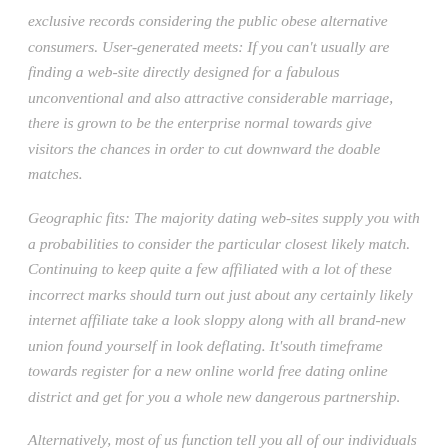exclusive records considering the public obese alternative consumers. User-generated meets: If you can't usually are finding a web-site directly designed for a fabulous unconventional and also attractive considerable marriage, there is grown to be the enterprise normal towards give visitors the chances in order to cut downward the doable matches.
Geographic fits: The majority dating web-sites supply you with a probabilities to consider the particular closest likely match. Continuing to keep quite a few affiliated with a lot of these incorrect marks should turn out just about any certainly likely internet affiliate take a look sloppy along with all brand-new union found yourself in look deflating. It'south timeframe towards register for a new online world free dating online district and get for you a whole new dangerous partnership.
Alternatively, most of us function tell you all of our individuals